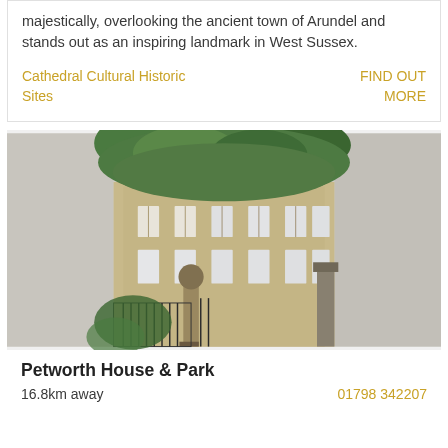majestically, overlooking the ancient town of Arundel and stands out as an inspiring landmark in West Sussex.
Cathedral Cultural Historic Sites
FIND OUT MORE
[Figure (photo): Photo of Petworth House & Park showing a grand stone building facade with tall windows, ornate gate pillars with spherical finials, iron railings, and green tree foliage at the top]
Petworth House & Park
16.8km away
01798 342207